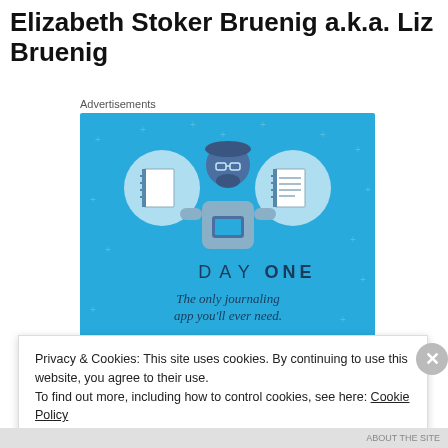Elizabeth Stoker Bruenig a.k.a. Liz Bruenig
Advertisements
[Figure (illustration): Day One journaling app advertisement. Blue background with illustrated person holding a phone, flanked by two circular icons showing a blank notebook and a lined notebook. Text reads: DAY ONE — The only journaling app you'll ever need. Button: Get the app.]
Privacy & Cookies: This site uses cookies. By continuing to use this website, you agree to their use.
To find out more, including how to control cookies, see here: Cookie Policy
Close and accept